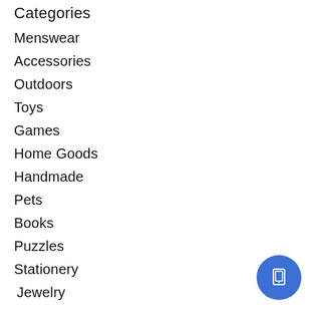Categories
Menswear
Accessories
Outdoors
Toys
Games
Home Goods
Handmade
Pets
Books
Puzzles
Stationery
Jewelry
My account
Register
My orders
[Figure (illustration): Blue circular floating action button with a smartphone/tablet icon in white]